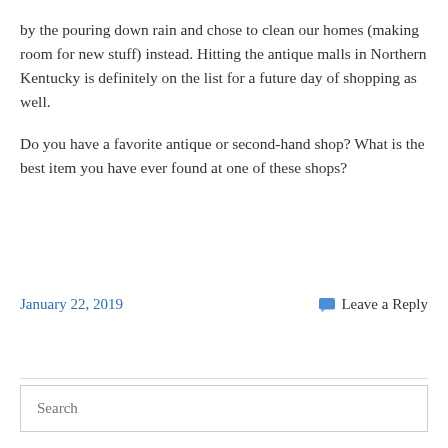by the pouring down rain and chose to clean our homes (making room for new stuff) instead. Hitting the antique malls in Northern Kentucky is definitely on the list for a future day of shopping as well.
Do you have a favorite antique or second-hand shop? What is the best item you have ever found at one of these shops?
January 22, 2019
Leave a Reply